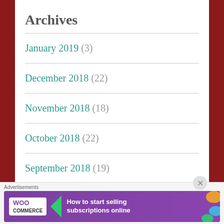Archives
January 2019 (3)
December 2018 (22)
November 2018 (18)
October 2018 (22)
September 2018 (19)
August 2018 (18)
[Figure (screenshot): WooCommerce advertisement banner: 'How to start selling subscriptions online']